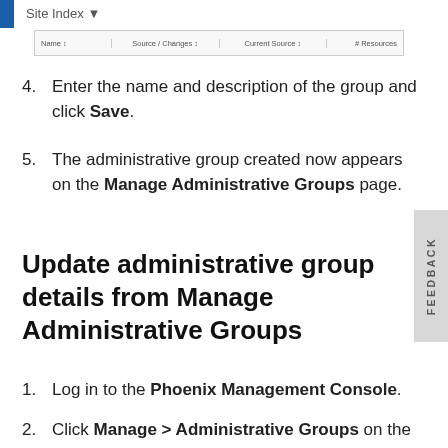Site Index
[Figure (screenshot): Screenshot of a table header row showing columns: Name, Source / Changes, Current Source, # Resources]
Enter the name and description of the group and click Save.
The administrative group created now appears on the Manage Administrative Groups page.
Update administrative group details from Manage Administrative Groups
Log in to the Phoenix Management Console.
Click Manage > Administrative Groups on the menu bar. Note that if the organization is enabled, select the required organization from the All Organizations menu, and then click Manage > Administrative